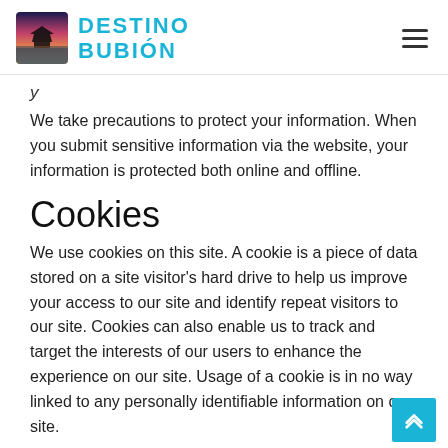[Figure (logo): Destino Bubión logo with landscape photo and teal text reading DESTINO BUBIÓN]
We take precautions to protect your information. When you submit sensitive information via the website, your information is protected both online and offline.
Cookies
We use cookies on this site. A cookie is a piece of data stored on a site visitor's hard drive to help us improve your access to our site and identify repeat visitors to our site. Cookies can also enable us to track and target the interests of our users to enhance the experience on our site. Usage of a cookie is in no way linked to any personally identifiable information on our site.